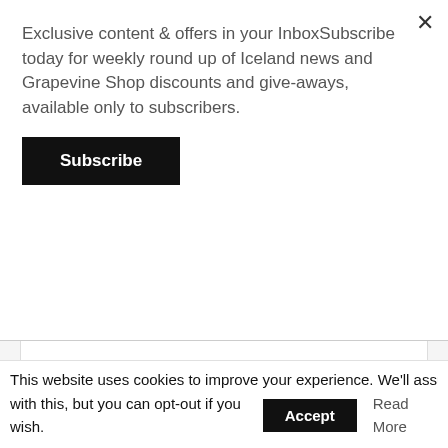Exclusive content & offers in your InboxSubscribe today for weekly round up of Iceland news and Grapevine Shop discounts and give-aways, available only to subscribers.
Subscribe
Help our work!
Ad-free browsing
Get new Reykjavík Grapevine sent in email
Get weekly roundup sent in email
Special offer on print subscriptions
More discount in our shop
This website uses cookies to improve your experience. We'll assume you're ok with this, but you can opt-out if you wish.
Accept
Read More